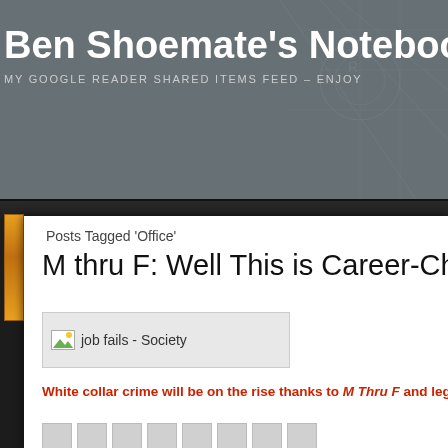Ben Shoemate's Notebook
MY GOOGLE READER SHARED ITEMS FEED – ENJOY
Posts Tagged 'Office'
M thru F: Well This is Career-Cha…
[Figure (illustration): Image placeholder with icon labeled 'job fails - Society']
White collar crime will be on the rise thanks to M Thru F and leg…